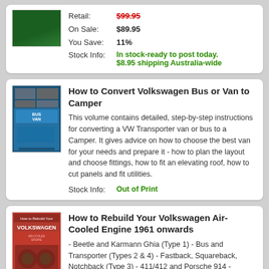Retail: $99.95 (strikethrough) | On Sale: $89.95 | You Save: 11% | Stock Info: In stock-ready to post today. $8.95 shipping Australia-wide
How to Convert Volkswagen Bus or Van to Camper
This volume contains detailed, step-by-step instructions for converting a VW Transporter van or bus to a Camper. It gives advice on how to choose the best van for your needs and prepare it - how to plan the layout and choose fittings, how to fit an elevating roof, how to cut panels and fit utilities.
Stock Info: Out of Print
How to Rebuild Your Volkswagen Air-Cooled Engine 1961 onwards
- Beetle and Karmann Ghia (Type 1) - Bus and Transporter (Types 2 & 4) - Fastback, Squareback, Notchback (Type 3) - 411/412 and Porsche 914 -Engines covered include 36 HP, 40 HP, 1300, 1500, 1600, 1700, 1800 and 2000.
Retail: $105.95 (strikethrough) | On Sale: $100.95 | You Save: 5% | Stock Info: Ships in 6-11 business days